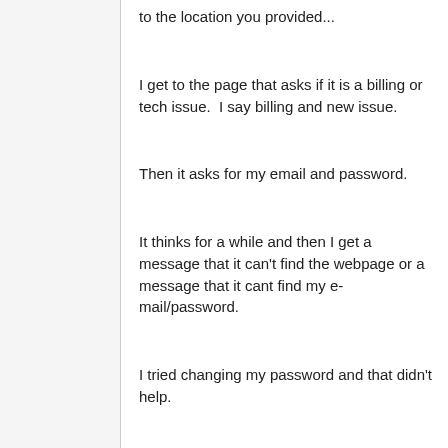to the location you provided...
I get to the page that asks if it is a billing or tech issue.  I say billing and new issue.
Then it asks for my email and password.
It thinks for a while and then I get a message that it can't find the webpage or a message that it cant find my e-mail/password.
I tried changing my password and that didn't help.
Finally I get this message:
Validate your OneCare...